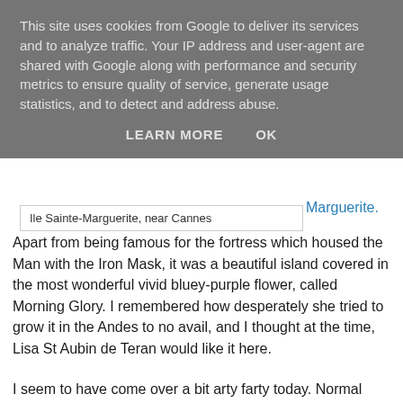This site uses cookies from Google to deliver its services and to analyze traffic. Your IP address and user-agent are shared with Google along with performance and security metrics to ensure quality of service, generate usage statistics, and to detect and address abuse.
LEARN MORE   OK
Ile Sainte-Marguerite, near Cannes
Marguerite.
Apart from being famous for the fortress which housed the Man with the Iron Mask, it was a beautiful island covered in the most wonderful vivid bluey-purple flower, called Morning Glory. I remembered how desperately she tried to grow it in the Andes to no avail, and I thought at the time, Lisa St Aubin de Teran would like it here.
I seem to have come over a bit arty farty today. Normal service will be resumed very soon, but before it does, do you have a favourite writer? I'd love to hear whose writing transports you.